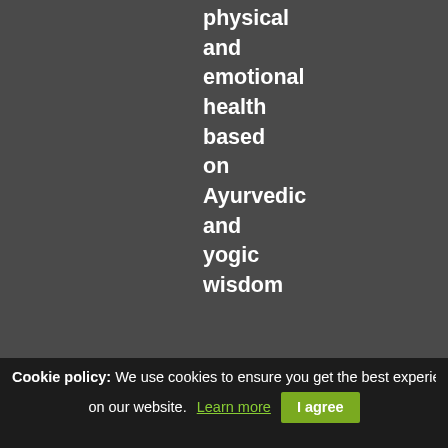physical and emotional health based on Ayurvedic and yogic wisdom
[Figure (illustration): Book cover for Java Concepts: Early Objects, 7th Edition — green cover with robot graphic]
Java Concepts: Early Objects, 7th Edition
[Figure (illustration): Book cover for Professional — white/red cover]
Professional
Cookie policy: We use cookies to ensure you get the best experience on our website. Learn more  I agree